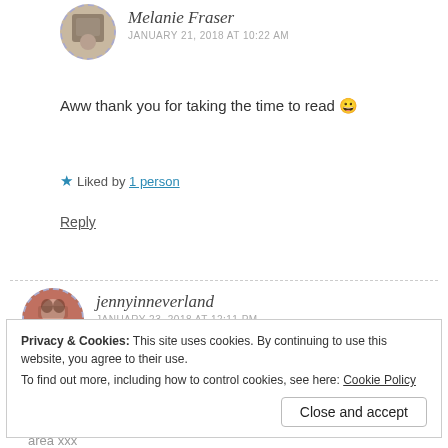[Figure (photo): Circular dashed-border avatar photo of Melanie Fraser]
Melanie Fraser
JANUARY 21, 2018 AT 10:22 AM
Aww thank you for taking the time to read 😀
★ Liked by 1 person
Reply
[Figure (photo): Circular dashed-border avatar photo of jennyinneverland]
jennyinneverland
JANUARY 23, 2018 AT 12:11 PM
Privacy & Cookies: This site uses cookies. By continuing to use this website, you agree to their use.
To find out more, including how to control cookies, see here: Cookie Policy
Close and accept
area xxx